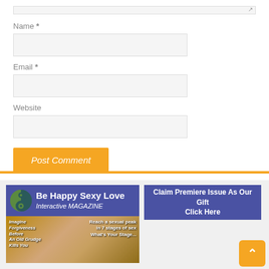Name *
Email *
Website
Post Comment
[Figure (screenshot): Be Happy Sexy Love Interactive Magazine advertisement with yin-yang logo and photo of women with text 'Imagine Forgiveness Before An Old Grudge Kills You' and 'Reach a sexual peak in 7 stages of sex What's Your Stage']
[Figure (other): Purple button: Claim Premiere Issue As Our Gift Click Here]
[Figure (other): Orange back-to-top arrow button]